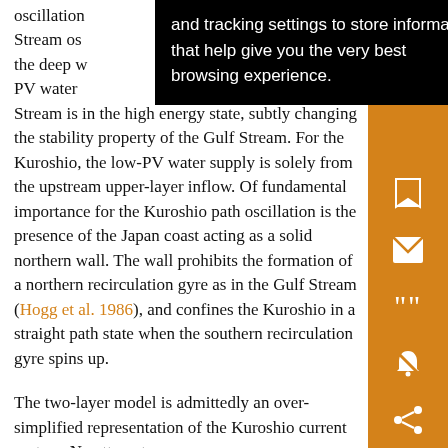oscillation... and tracking settings to store information that help give you the very best browsing experience. ...the Gulf Stream os... e of the deep w... low PV water... the Gulf Stream is in the high energy state, subtly changing the stability property of the Gulf Stream. For the Kuroshio, the low-PV water supply is solely from the upstream upper-layer inflow. Of fundamental importance for the Kuroshio path oscillation is the presence of the Japan coast acting as a solid northern wall. The wall prohibits the formation of a northern recirculation gyre as in the Gulf Stream (Hogg et al. 1986), and confines the Kuroshio in a straight path state when the southern recirculation gyre spins up.
The two-layer model is admittedly an over-simplified representation of the Kuroshio current system. No attempt